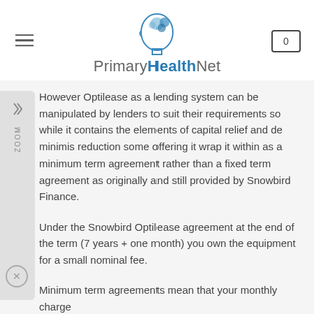[Figure (logo): PrimaryHealthNet logo with stylized head/brain icon above the text]
However Optilease as a lending system can be manipulated by lenders to suit their requirements so while it contains the elements of capital relief and de minimis reduction some offering it wrap it within as a minimum term agreement rather than a fixed term agreement as originally and still provided by Snowbird Finance.
Under the Snowbird Optilease agreement at the end of the term (7 years + one month) you own the equipment for a small nominal fee.
Minimum term agreements mean that your monthly charge